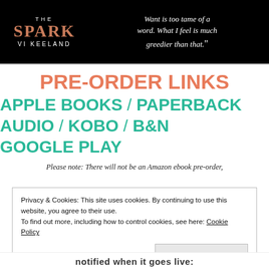[Figure (illustration): Black banner with book title 'THE SPARK' by VI KEELAND on the left in copper/rose gold text, and a quote on the right: 'Want is too tame of a word. What I feel is much greedier than that.']
PRE-ORDER LINKS
APPLE BOOKS / PAPERBACK AUDIO / KOBO / B&N GOOGLE PLAY
Please note: There will not be an Amazon ebook pre-order,
Privacy & Cookies: This site uses cookies. By continuing to use this website, you agree to their use. To find out more, including how to control cookies, see here: Cookie Policy
Close and accept
notified when it goes live: